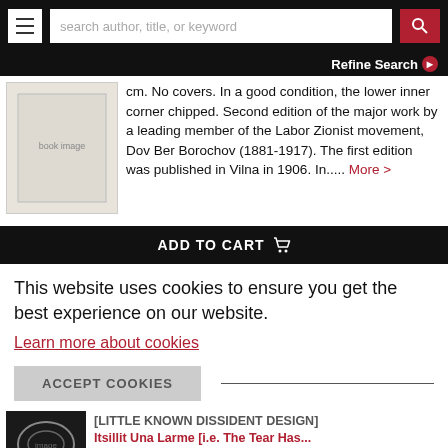search author, title, or keyword
Refine Search
cm. No covers. In a good condition, the lower inner corner chipped. Second edition of the major work by a leading member of the Labor Zionist movement, Dov Ber Borochov (1881-1917). The first edition was published in Vilna in 1906. In..... More >
ADD TO CART
This website uses cookies to ensure you get the best experience on our website.
Learn more about cookies
ACCEPT COOKIES
[LITTLE KNOWN DISSIDENT DESIGN] Itsillit Una Larme [i.e. The Tear Has...